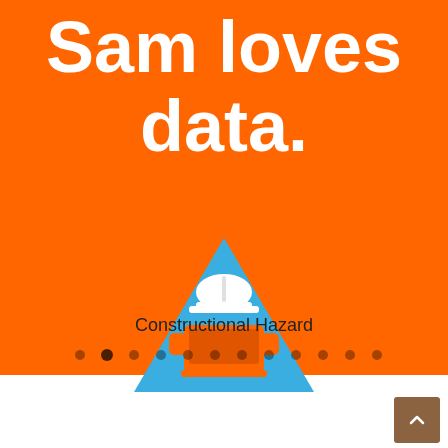Sam loves data.
[Figure (illustration): A blue triangle warning sign containing an orange icon of a construction worker wearing a hard hat and holding an open laptop or book]
Constructional Hazard
[Figure (other): Pagination dots, 12 dots total, second dot filled/highlighted indicating current slide position]